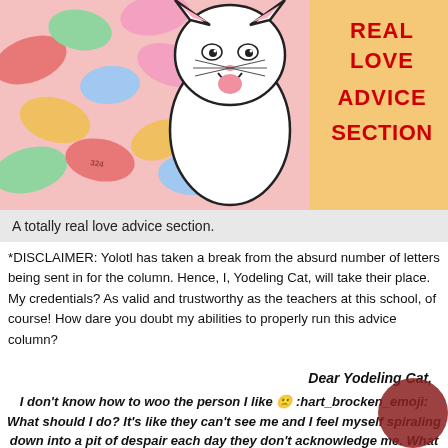[Figure (illustration): Header image showing colorful candy hearts in background with a cartoon yodeling cat character in the center, and red bold text reading REAL LOVE ADVICE SECTION on the right side on a yellow/orange candy heart background.]
A totally real love advice section.
*DISCLAIMER: Yolotl has taken a break from the absurd number of letters being sent in for the column. Hence, I, Yodeling Cat, will take their place. My credentials? As valid and trustworthy as the teachers at this school, of course! How dare you doubt my abilities to properly run this advice column?
Dear Yodeling Cat,
I don't know how to woo the person I like 🙁 :hart_brocken_emoji: What should I do? It's like they can't see me and I feel myself spiraling down into a pit of despair each day they don't acknowledge me. What do I need to do to get their attention? I would willingly do ten somersaults and a barrel roll into the wall in front of them if that meant they'd spare me a look.